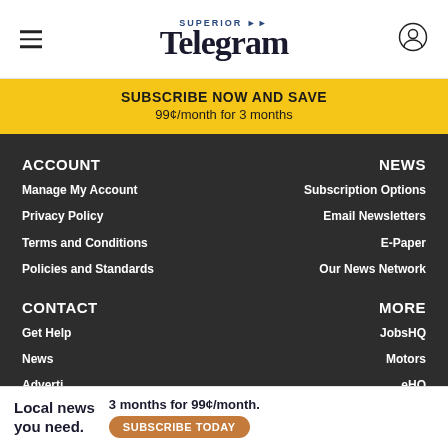Superior Telegram
SUBSCRIBE NOW AND SAVE
99¢/month for 3 months
ACCOUNT
Manage My Account
Privacy Policy
Terms and Conditions
Policies and Standards
NEWS
Subscription Options
Email Newsletters
E-Paper
Our News Network
CONTACT
Get Help
News
Adverti...
Work w...
MORE
JobsHQ
Motors
...eHQ
Local news you need.   3 months for 99¢/month.   SUBSCRIBE TODAY